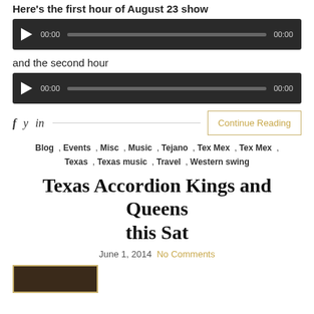Here's the first hour of August 23 show
[Figure (other): Audio player widget with play button, time display 00:00, progress bar, and duration 00:00 on dark background]
and the second hour
[Figure (other): Audio player widget with play button, time display 00:00, progress bar, and duration 00:00 on dark background]
f  y  in  Continue Reading
Blog , Events , Misc , Music , Tejano , Tex Mex , Tex Mex , Texas , Texas music , Travel , Western swing
Texas Accordion Kings and Queens this Sat
June 1, 2014  No Comments
[Figure (photo): Thumbnail image, dark brown/black background]